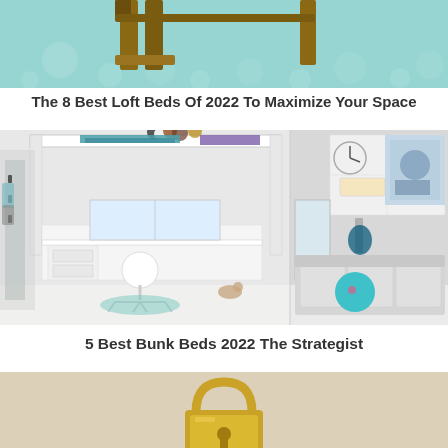[Figure (photo): Top partial image showing a loft bed with teal/turquoise background and wooden bed frame visible at the top of the page.]
The 8 Best Loft Beds Of 2022 To Maximize Your Space
[Figure (photo): Photo of a children's bedroom with a white loft bed featuring a built-in desk workspace underneath, stuffed animals on top, a ladder on the right side, and a couch with teal cushions visible on the right. Teal and white color scheme throughout.]
5 Best Bunk Beds 2022 The Strategist
[Figure (photo): Bottom partial image showing a gold/brass colored padlock on a light beige background.]